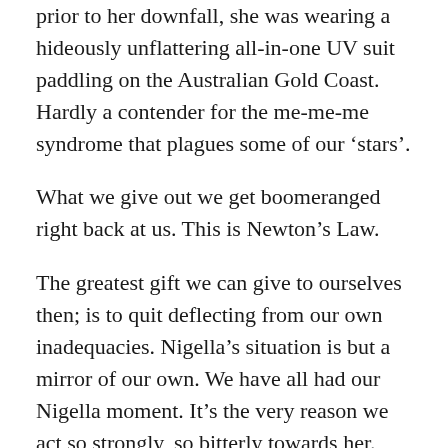prior to her downfall, she was wearing a hideously unflattering all-in-one UV suit paddling on the Australian Gold Coast.  Hardly a contender for the me-me-me syndrome that plagues some of our ‘stars’.
What we give out we get boomeranged right back at us.  This is Newton’s Law.
The greatest gift we can give to ourselves then; is to quit deflecting from our own inadequacies.  Nigella’s situation is but a mirror of our own.  We have all had our Nigella moment.  It’s the very reason we act so strongly, so bitterly towards her.  Nigella is the icon of the shameful skeletons lurking in our own cupboards; the juicy stories we know would be aired if only we had our five minutes in the limelight, too.
And the greatest gift we can give to Nigella is the respect to di...